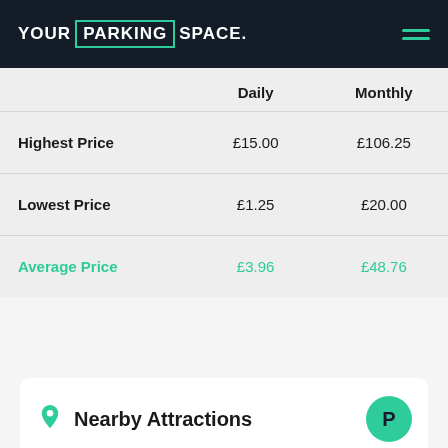[Figure (logo): YourParkingSpace logo in white and green on dark navy header, with hamburger menu icon on the right]
|  | Daily | Monthly |
| --- | --- | --- |
| Highest Price | £15.00 | £106.25 |
| Lowest Price | £1.25 | £20.00 |
| Average Price | £3.96 | £48.76 |
Nearby Attractions